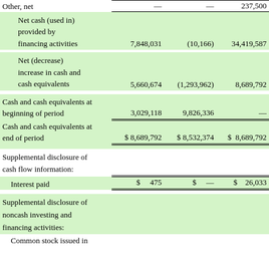|  |  |  |  |
| --- | --- | --- | --- |
| Other, net | — | — | 237,500 |
| Net cash (used in) provided by financing activities | 7,848,031 | (10,166) | 34,419,587 |
| Net (decrease) increase in cash and cash equivalents | 5,660,674 | (1,293,962) | 8,689,792 |
| Cash and cash equivalents at beginning of period | 3,029,118 | 9,826,336 | — |
| Cash and cash equivalents at end of period | $ 8,689,792 | $ 8,532,374 | $ 8,689,792 |
| Interest paid | $ 475 | $ — | $ 26,033 |
| Supplemental disclosure of noncash investing and financing activities: |  |  |  |
| Common stock issued in |  |  |  |